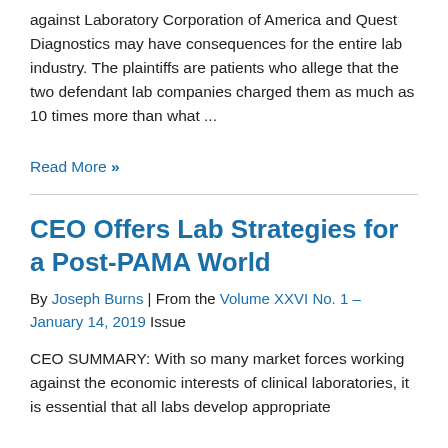against Laboratory Corporation of America and Quest Diagnostics may have consequences for the entire lab industry. The plaintiffs are patients who allege that the two defendant lab companies charged them as much as 10 times more than what ...
Read More »
CEO Offers Lab Strategies for a Post-PAMA World
By Joseph Burns | From the Volume XXVI No. 1 – January 14, 2019 Issue
CEO SUMMARY: With so many market forces working against the economic interests of clinical laboratories, it is essential that all labs develop appropriate